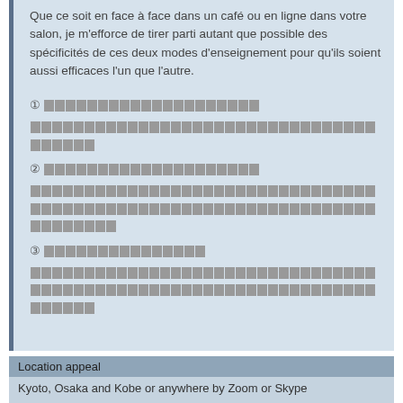Que ce soit en face à face dans un café ou en ligne dans votre salon, je m'efforce de tirer parti autant que possible des spécificités de ces deux modes d'enseignement pour qu'ils soient aussi efficaces l'un que l'autre.
① [Japanese text]
[Japanese text]
② [Japanese text]
[Japanese text]
③ [Japanese text]
[Japanese text]
Location appeal
Kyoto, Osaka and Kobe or anywhere by Zoom or Skype